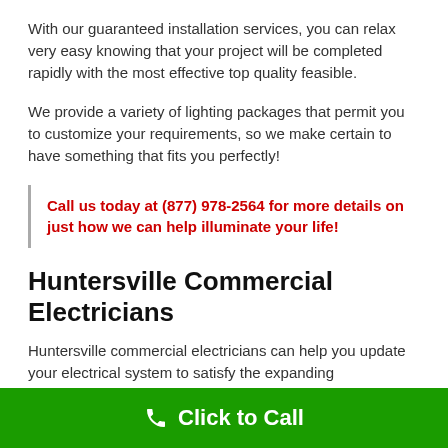With our guaranteed installation services, you can relax very easy knowing that your project will be completed rapidly with the most effective top quality feasible.
We provide a variety of lighting packages that permit you to customize your requirements, so we make certain to have something that fits you perfectly!
Call us today at (877) 978-2564 for more details on just how we can help illuminate your life!
Huntersville Commercial Electricians
Huntersville commercial electricians can help you update your electrical system to satisfy the expanding requirements of a business.
Click to Call